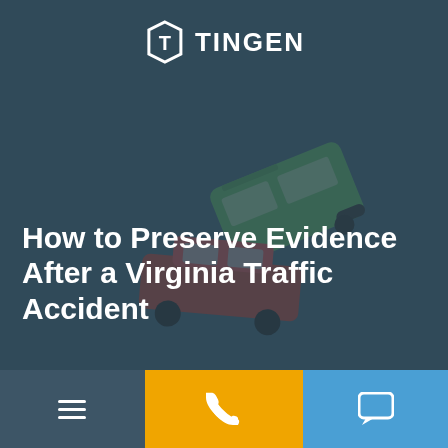[Figure (logo): Tingen Law logo — white hexagon shield with T letter inside, followed by TINGEN text in white]
[Figure (photo): Background photo of toy car crash scene — a green toy VW bus overturned on a red toy car, on a dark teal-grey background]
How to Preserve Evidence After a Virginia Traffic Accident
Attorneys build personal injury claims on a foundation of solid and persuasive evidence. Properly preserving your evidence is a great way to help your case.
Navigation bar with hamburger menu, phone call button, and chat button